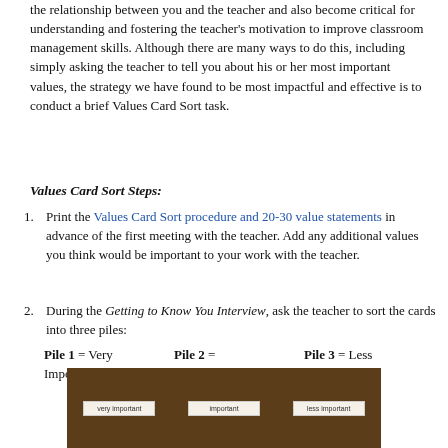the relationship between you and the teacher and also become critical for understanding and fostering the teacher's motivation to improve classroom management skills. Although there are many ways to do this, including simply asking the teacher to tell you about his or her most important values, the strategy we have found to be most impactful and effective is to conduct a brief Values Card Sort task.
Values Card Sort Steps:
Print the Values Card Sort procedure and 20-30 value statements in advance of the first meeting with the teacher. Add any additional values you think would be important to your work with the teacher.
During the Getting to Know You Interview, ask the teacher to sort the cards into three piles: Pile 1 = Very Important   Pile 2 = Important   Pile 3 = Less Important
[Figure (photo): Photo of a wooden table with three labeled cards spread out: 'Very Important', 'Important', and 'Less Important', used in the Values Card Sort activity.]